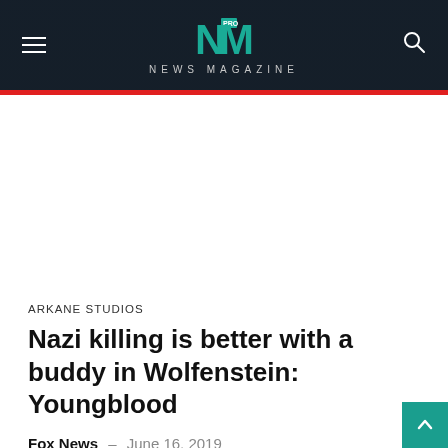NEWS MAGAZINE
ARKANE STUDIOS
Nazi killing is better with a buddy in Wolfenstein: Youngblood
Fox News – June 16, 2019